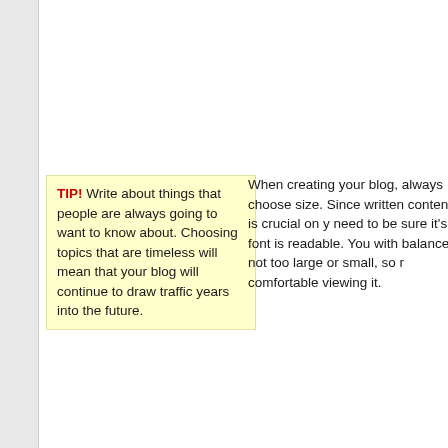TIP! Write about things that people are always going to want to know about. Choosing topics that are timeless will mean that your blog will continue to draw traffic years into the future.
When creating your blog, always choose a size. Since written content is crucial on your need to be sure it's font is readable. You with balance, not too large or small, so r comfortable viewing it.